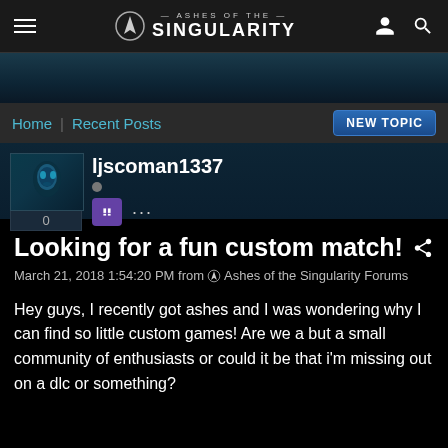Ashes of the Singularity
Home | Recent Posts
ljscoman1337
Looking for a fun custom match!
March 21, 2018 1:54:20 PM from Ashes of the Singularity Forums
Hey guys, I recently got ashes and I was wondering why I can find so little custom games! Are we a but a small community of enthusiasts or could it be that i'm missing out on a dlc or something?